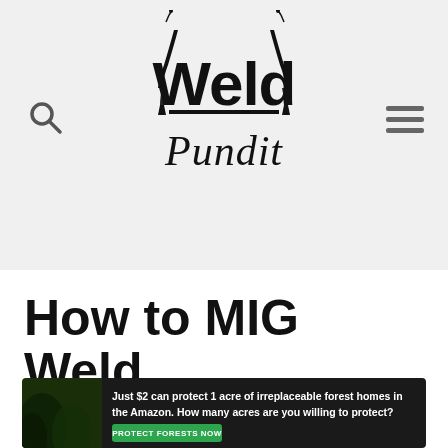Weld Pundit
[Figure (logo): Weld Pundit logo with two welding torches flanking bold text 'Weld' above italic script 'Pundit', with a horizontal bar connecting the torches]
How to MIG Weld
[Figure (infographic): Advertisement banner: 'Just $2 can protect 1 acre of irreplaceable forest homes in the Amazon. How many acres are you willing to protect?' with green PROTECT FORESTS NOW button, dark forest background image]